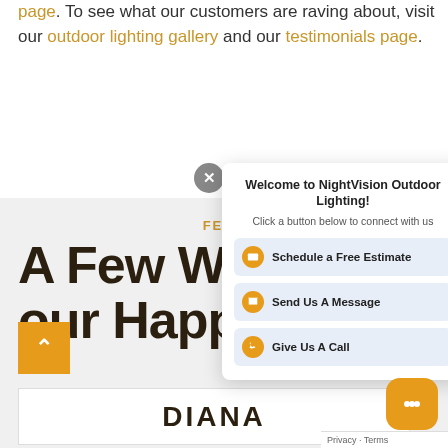page. To see what our customers are raving about, visit our outdoor lighting gallery and our testimonials page.
FEED
A Few Wo... our Happy Clients
DIANA
[Figure (screenshot): Chat popup widget with title 'Welcome to NightVision Outdoor Lighting!' with buttons: Schedule a Free Estimate, Send Us A Message, Give Us A Call]
[Figure (screenshot): Floating chat bubble icon (orange/gold rounded square)]